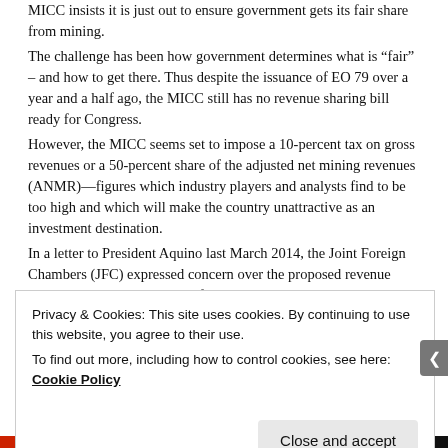MICC insists it is just out to ensure government gets its fair share from mining.
The challenge has been how government determines what is "fair" – and how to get there. Thus despite the issuance of EO 79 over a year and a half ago, the MICC still has no revenue sharing bill ready for Congress.
However, the MICC seems set to impose a 10-percent tax on gross revenues or a 50-percent share of the adjusted net mining revenues (ANMR)—figures which industry players and analysts find to be too high and which will make the country unattractive as an investment destination.
In a letter to President Aquino last March 2014, the Joint Foreign Chambers (JFC) expressed concern over the proposed revenue scheme and said that "such a fiscal regime will have an extremely negative impact on future investment in the minerals sector."
Privacy & Cookies: This site uses cookies. By continuing to use this website, you agree to their use. To find out more, including how to control cookies, see here: Cookie Policy